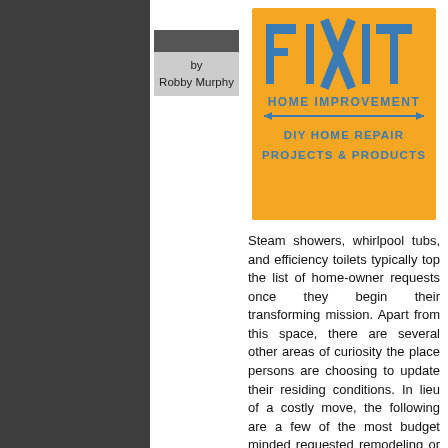[Figure (logo): FIX IT Home Improvement logo on orange background with 'DIY HOME REPAIR PROJECTS & PRODUCTS' text in blue]
by
Robby Murphy
Steam showers, whirlpool tubs, and efficiency toilets typically top the list of home-owner requests once they begin their transforming mission. Apart from this space, there are several other areas of curiosity the place persons are choosing to update their residing conditions. In lieu of a costly move, the following are a few of the most budget minded requested remodeling or updating services the present house owner is selecting to include into their residence to realize the added features they so greatly